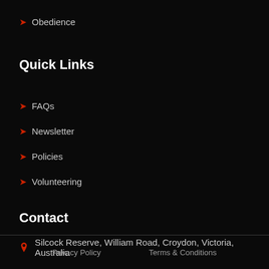Obedience
Quick Links
FAQs
Newsletter
Policies
Volunteering
Contact
Silcock Reserve, William Road, Croydon, Victoria, Australia
Privacy Policy   Terms & Conditions